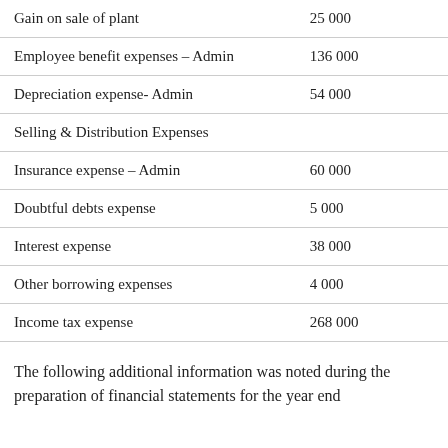| Item | Amount |
| --- | --- |
| Gain on sale of plant | 25 000 |
| Employee benefit expenses – Admin | 136 000 |
| Depreciation expense- Admin | 54 000 |
| Selling & Distribution Expenses |  |
| Insurance expense – Admin | 60 000 |
| Doubtful debts expense | 5 000 |
| Interest expense | 38 000 |
| Other borrowing expenses | 4 000 |
| Income tax expense | 268 000 |
The following additional information was noted during the preparation of financial statements for the year end